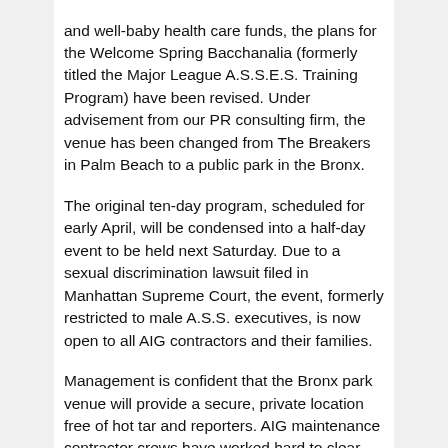and well-baby health care funds, the plans for the Welcome Spring Bacchanalia (formerly titled the Major League A.S.S.E.S. Training Program) have been revised. Under advisement from our PR consulting firm, the venue has been changed from The Breakers in Palm Beach to a public park in the Bronx.
The original ten-day program, scheduled for early April, will be condensed into a half-day event to be held next Saturday. Due to a sexual discrimination lawsuit filed in Manhattan Supreme Court, the event, formerly restricted to male A.S.S. executives, is now open to all AIG contractors and their families.
Management is confident that the Bronx park venue will provide a secure, private location free of hot tar and reporters. AIG maintenance contractor crews have worked hard to clear the park and its surrounding neighborhood of all torches, bubbling oil, pitchforks, and residents.
Despite the change of the meeting location, the original